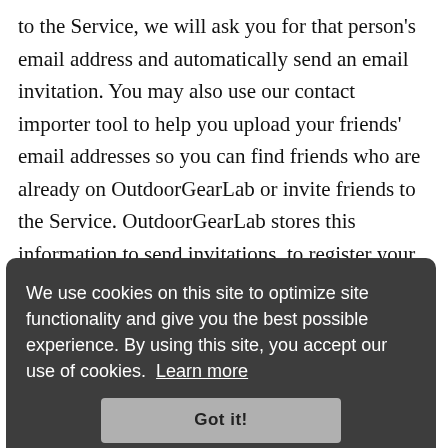to the Service, we will ask you for that person's email address and automatically send an email invitation. You may also use our contact importer tool to help you upload your friends' email addresses so you can find friends who are already on OutdoorGearLab or invite friends to the Service. OutdoorGearLab stores this information to send invitations, to register your friend if your invitation is accepted, to track the success of our invitation service, and to identify your friends on OutdoorGearLab.
[Figure (other): Cookie consent overlay banner with dark grey background reading: 'We use cookies on this site to optimize site functionality and give you the best possible experience. By using this site, you accept our use of cookies. Learn more' with a 'Got it!' button.]
Information Collected Automatically. When you use the Service, we use persistent and session cookies and other tracking technologies to: (a) store your username and password; (b) analyze the usage of the Service; (c) customize the Service to your preferences; and (d) control the advertising displayed by the Service. A persistent cookie remains on your computer after you close your browser so